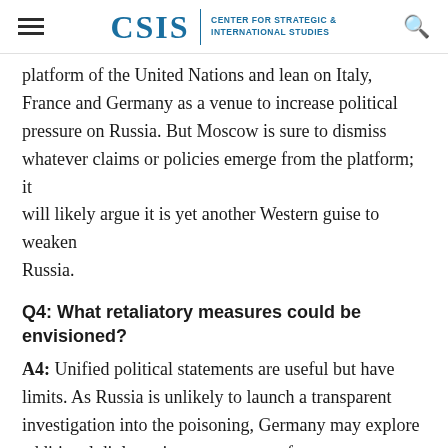CSIS | CENTER FOR STRATEGIC & INTERNATIONAL STUDIES
platform of the United Nations and lean on Italy, France and Germany as a venue to increase political pressure on Russia. But Moscow is sure to dismiss whatever claims or policies emerge from the platform; it will likely argue it is yet another Western guise to weaken Russia.
Q4: What retaliatory measures could be envisioned?
A4: Unified political statements are useful but have limits. As Russia is unlikely to launch a transparent investigation into the poisoning, Germany may explore additional diplomatic measures to enforce accountability from Moscow, which could include issuing démarches, postponing meetings and visits with senior Russian officials, expelling Russian diplomats and intelligence officers (in 2018, 143 Russian intelligence officers were